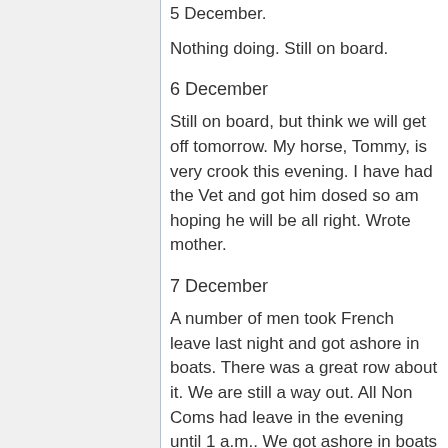5 December.
Nothing doing. Still on board.
6 December
Still on board, but think we will get off tomorrow. My horse, Tommy, is very crook this evening. I have had the Vet and got him dosed so am hoping he will be all right. Wrote mother.
7 December
A number of men took French leave last night and got ashore in boats. There was a great row about it. We are still a way out. All Non Coms had leave in the evening until 1 a.m.. We got ashore in boats and then got a cab up to the decent part of the town. I managed to get a good guide. We first of all had a